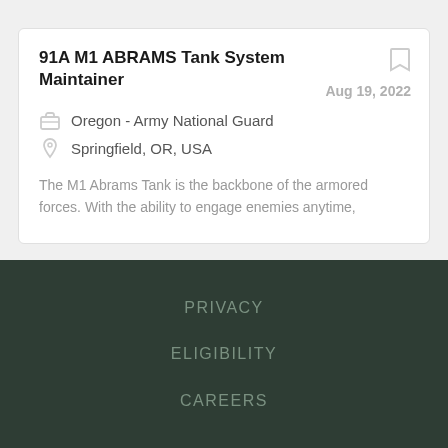91A M1 ABRAMS Tank System Maintainer
Aug 19, 2022
Oregon - Army National Guard
Springfield, OR, USA
The M1 Abrams Tank is the backbone of the armored forces. With the ability to engage enemies anytime,
PRIVACY
ELIGIBILITY
CAREERS